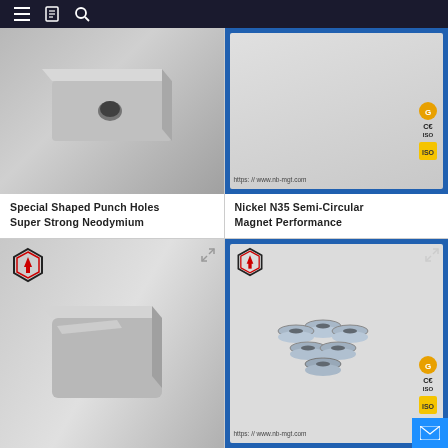Navigation bar with menu, catalog, and search icons
[Figure (photo): Silver metallic block magnet with punch hole, photographed on white background]
Special Shaped Punch Holes Super Strong Neodymium
[Figure (photo): Product card with blue border showing certification badges (CE, ISO) and URL https://www.nb-mgt.com for Nickel N35 Semi-Circular Magnet]
Nickel N35 Semi-Circular Magnet Performance
[Figure (photo): Silver flat square neodymium block magnet photographed on white background, with hexagon logo in top left]
[Figure (photo): Product card with blue border showing multiple circular ring/washer magnets with holes, certification badges (CE, ISO) and URL https://www.nb-mgt.com]